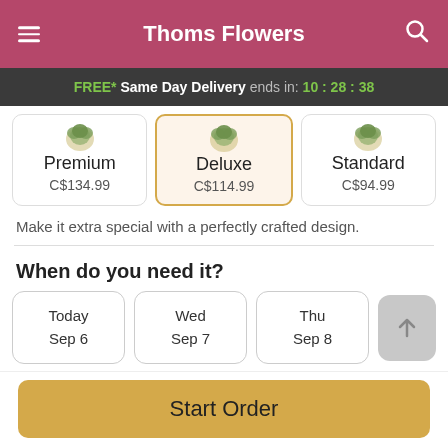Thoms Flowers
FREE* Same Day Delivery ends in: 10:28:38
| Premium | Deluxe | Standard |
| --- | --- | --- |
| C$134.99 | C$114.99 | C$94.99 |
Make it extra special with a perfectly crafted design.
When do you need it?
Today Sep 6 | Wed Sep 7 | Thu Sep 8
Start Order